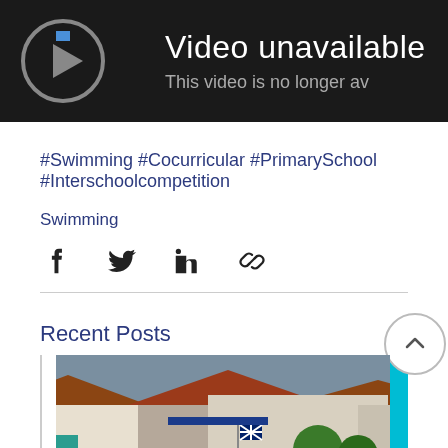[Figure (screenshot): Video unavailable banner — dark background with error icon, text 'Video unavailable' and 'This video is no longer av...']
#Swimming #Cocurricular #PrimarySchool #Interschoolcompetition
Swimming
[Figure (infographic): Social sharing icons: Facebook, Twitter, LinkedIn, Link/copy icons]
Recent Posts
[Figure (photo): Aerial photo of a school campus with a swimming pool, parked cars, buildings with red tile roofs, trees, and flags including a UK flag]